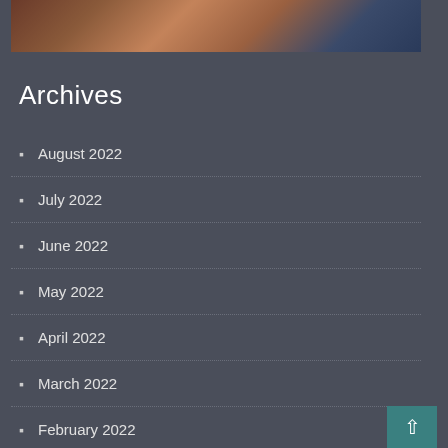[Figure (photo): Partial view of a person's face/head from a website sidebar, cropped at the bottom of the image]
Archives
August 2022
July 2022
June 2022
May 2022
April 2022
March 2022
February 2022